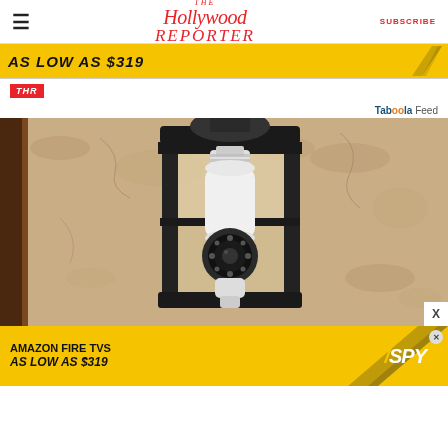The Hollywood Reporter | SUBSCRIBE
[Figure (screenshot): Yellow advertisement banner reading 'AS LOW AS $319' with diagonal arrow graphic]
THR
Taboola Feed
[Figure (photo): Close-up photo of an outdoor wall lantern fixture with a white security camera bulb installed inside it, mounted on a textured stucco wall]
[Figure (screenshot): Bottom advertisement banner: 'AMAZON FIRE TVS AS LOW AS $319' with SPY logo in white italic text on yellow background with dark diagonal graphic]